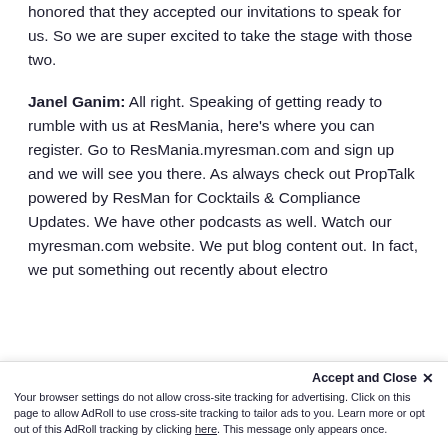honored that they accepted our invitations to speak for us. So we are super excited to take the stage with those two.
Janel Ganim: All right. Speaking of getting ready to rumble with us at ResMania, here's where you can register. Go to ResMania.myresman.com and sign up and we will see you there. As always check out PropTalk powered by ResMan for Cocktails & Compliance Updates. We have other podcasts as well. Watch our myresman.com website. We put blog content out. In fact, we put something out recently about electro… adoption, things to
Accept and Close ✕
Your browser settings do not allow cross-site tracking for advertising. Click on this page to allow AdRoll to use cross-site tracking to tailor ads to you. Learn more or opt out of this AdRoll tracking by clicking here. This message only appears once.